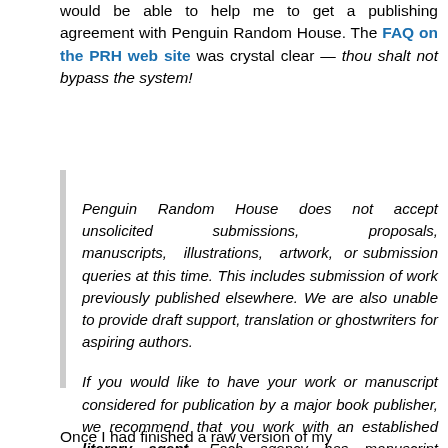would be able to help me to get a publishing agreement with Penguin Random House. The FAQ on the PRH web site was crystal clear — thou shalt not bypass the system!
Penguin Random House does not accept unsolicited submissions, proposals, manuscripts, illustrations, artwork, or submission queries at this time. This includes submission of work previously published elsewhere. We are also unable to provide draft support, translation or ghostwriters for aspiring authors.

If you would like to have your work or manuscript considered for publication by a major book publisher, we recommend that you work with an established literary agent. Each agency has manuscript submission guidelines.
Once I had finished a raw version of my